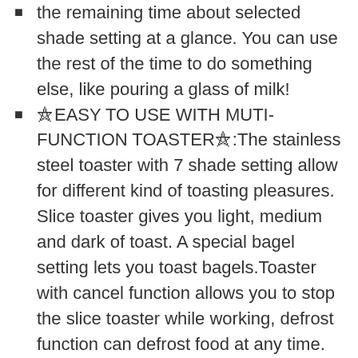the remaining time about selected shade setting at a glance. You can use the rest of the time to do something else, like pouring a glass of milk!
🄴ASY TO USE WITH MUTI-FUNCTION TOASTER🄽:The stainless steel toaster with 7 shade setting allow for different kind of toasting pleasures. Slice toaster gives you light, medium and dark of toast. A special bagel setting lets you toast bagels.Toaster with cancel function allows you to stop the slice toaster while working, defrost function can defrost food at any time.
🄷IGH-LIFE LEVER🄽:Auto toast boost.The toaster turns off when the desired toast color is achieved and automatically pops up the toast,avoid burning fingers, easily remove smaller bread bagels waffles.The whole family breakfast just gets easier now with this bread toaster.